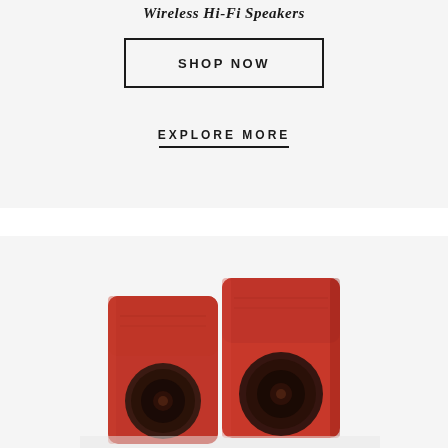Wireless Hi-Fi Speakers
SHOP NOW
EXPLORE MORE
[Figure (photo): Two red KEF wireless hi-fi bookshelf speakers photographed against a light gray/white background, showing front view with circular driver cones visible]